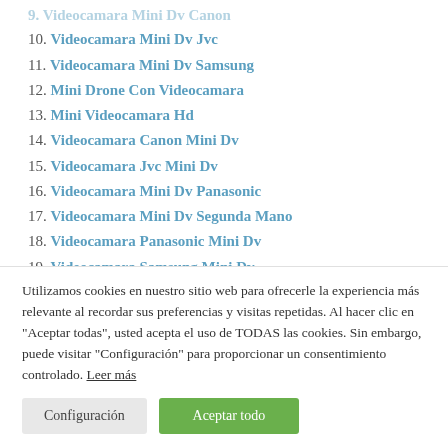9. Videocamara Mini Dv Canon (partially visible)
10. Videocamara Mini Dv Jvc
11. Videocamara Mini Dv Samsung
12. Mini Drone Con Videocamara
13. Mini Videocamara Hd
14. Videocamara Canon Mini Dv
15. Videocamara Jvc Mini Dv
16. Videocamara Mini Dv Panasonic
17. Videocamara Mini Dv Segunda Mano
18. Videocamara Panasonic Mini Dv
19. Videocamara Samsung Mini Dv
20. Videocamara Sony C... (partially visible)
Utilizamos cookies en nuestro sitio web para ofrecerle la experiencia más relevante al recordar sus preferencias y visitas repetidas. Al hacer clic en "Aceptar todas", usted acepta el uso de TODAS las cookies. Sin embargo, puede visitar "Configuración" para proporcionar un consentimiento controlado. Leer más
Configuración | Aceptar todo